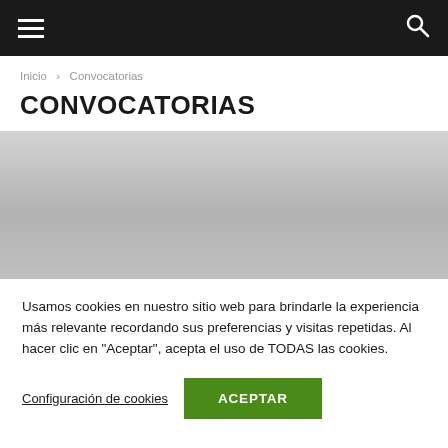☰  🔍
Inicio › Convocatorias
CONVOCATORIAS
[Figure (photo): Gray gradient placeholder image area]
Usamos cookies en nuestro sitio web para brindarle la experiencia más relevante recordando sus preferencias y visitas repetidas. Al hacer clic en "Aceptar", acepta el uso de TODAS las cookies.
Configuración de cookies   ACEPTAR